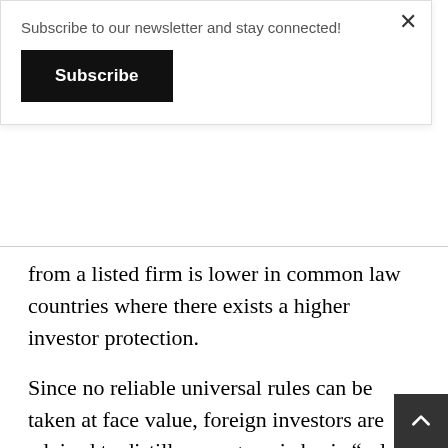Subscribe to our newsletter and stay connected!
Subscribe
from a listed firm is lower in common law countries where there exists a higher investor protection.
Since no reliable universal rules can be taken at face value, foreign investors are advised to distill some generic basic “rules of thumb” when setting up operations in Indonesia. Here are some suggested heuristics, or rules of thumb: foreign investors who have decided to line up with loc